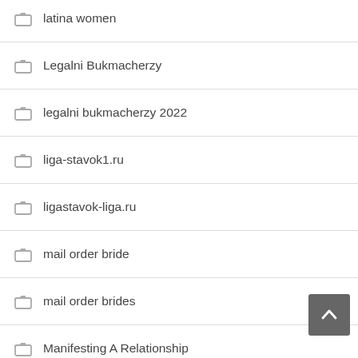latina women
Legalni Bukmacherzy
legalni bukmacherzy 2022
liga-stavok1.ru
ligastavok-liga.ru
mail order bride
mail order brides
Manifesting A Relationship
Marriage Certificate Process
Marriage License And Ceremony
Meet The Most Gorgeous Ukrainian Women In The World